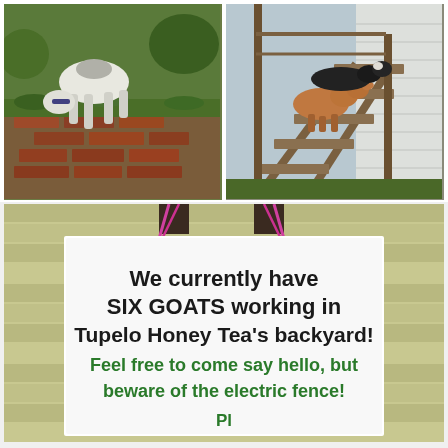[Figure (photo): A white and gray goat standing on a pile of old red bricks in a grassy yard]
[Figure (photo): Two goats, one brown and one black, resting on wooden outdoor stairs next to a white house]
[Figure (photo): A white sign hanging by pink strings in front of yellow siding reading: We currently have SIX GOATS working in Tupelo Honey Tea's backyard! Feel free to come say hello, but beware of the electric fence!]